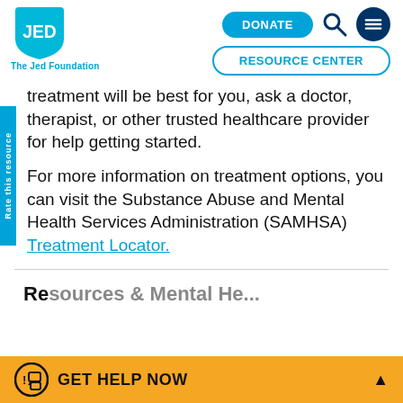The Jed Foundation — JED | DONATE | RESOURCE CENTER
treatment will be best for you, ask a doctor, therapist, or other trusted healthcare provider for help getting started.
For more information on treatment options, you can visit the Substance Abuse and Mental Health Services Administration (SAMHSA) Treatment Locator.